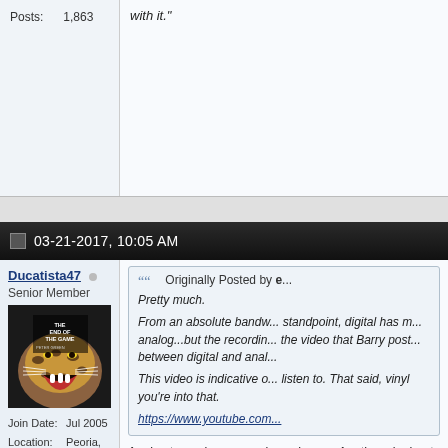Posts: 1,863
with it."
03-21-2017, 10:05 AM
Ducatista47
Senior Member
[Figure (photo): Album cover showing a roaring leopard with text 'THE END OF THE GAME PETER GREEN']
Join Date: Jul 2005
Location: Peoria, Illinois
Posts: 1,865
Originally Posted by e...
Pretty much.

From an absolute bandw... standpoint, digital has m... analog...but the recordin... the video that Barry post... between digital and anal...

This video is indicative o... listen to. That said, vinyl you're into that.

https://www.youtube.com...
Apples to apples comparisons have... Another elephant in the room is eu... listener is a wildfire in comparison